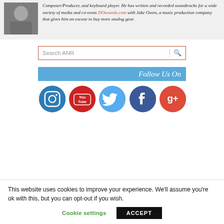[Figure (photo): Photo of a man drinking from a cup, wearing a striped scarf and grey jacket]
Composer/Producer, and keyboard player. He has written and recorded soundtracks for a wide variety of media and co-owns DOsounds.com with Jake Owen, a music production company that gives him an excuse to buy more analog gear.
[Figure (screenshot): Search box with placeholder text 'Search ANR' and a search icon]
[Figure (infographic): Follow Us On banner with social media icons: Instagram, YouTube, Twitter, Facebook, Google+]
This website uses cookies to improve your experience. We'll assume you're ok with this, but you can opt-out if you wish.
Cookie settings   ACCEPT